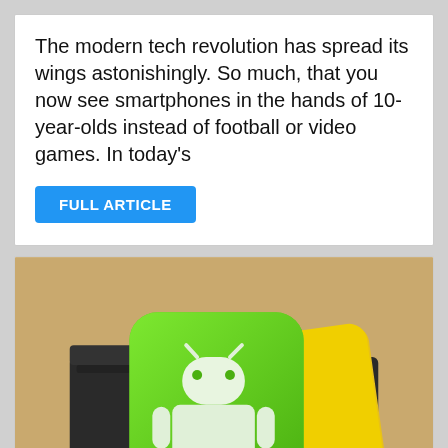The modern tech revolution has spread its wings astonishingly. So much, that you now see smartphones in the hands of 10-year-olds instead of football or video games. In today's
FULL ARTICLE
[Figure (illustration): App icon showing an Android robot logo on a green rounded square card, a yellow folder card, both placed inside a dark folder/wallet, all on a tan/wooden background.]